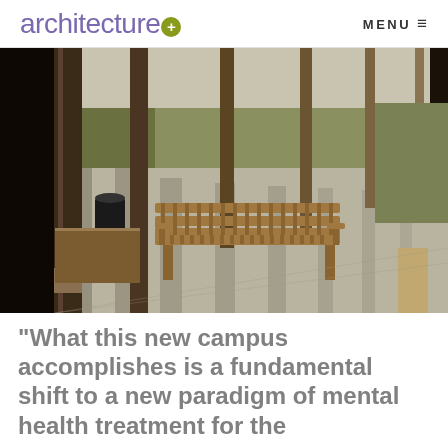architecture+ MENU
[Figure (photo): A covered walkway or pergola with wooden columns casting striped shadows on a concrete path. A wooden park bench sits in the foreground. Trees and shrubs are visible in the background.]
"What this new campus accomplishes is a fundamental shift to a new paradigm of mental health treatment for the